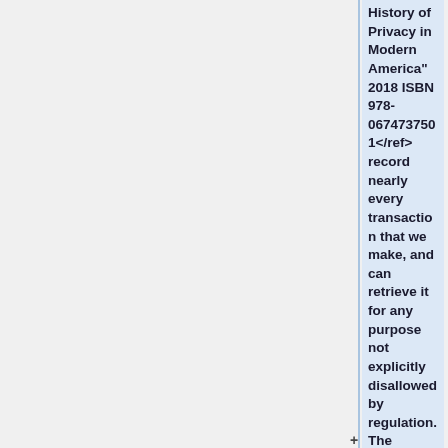History of Privacy in Modern America" 2018 ISBN 978-0674737501</ref> record nearly every transaction that we make, and can retrieve it for any purpose not explicitly disallowed by regulation. The amount of information that Facebook has accumulated about people is far more than most people understand